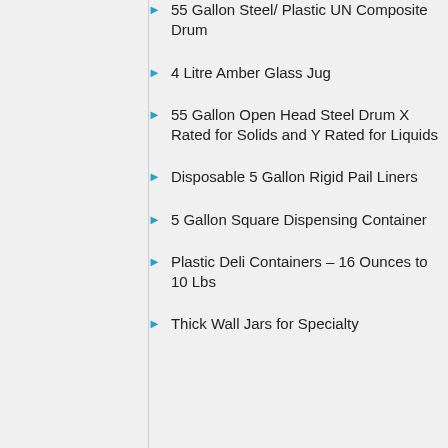55 Gallon Steel/ Plastic UN Composite Drum
4 Litre Amber Glass Jug
55 Gallon Open Head Steel Drum X Rated for Solids and Y Rated for Liquids
Disposable 5 Gallon Rigid Pail Liners
5 Gallon Square Dispensing Container
Plastic Deli Containers – 16 Ounces to 10 Lbs
Thick Wall Jars for Specialty